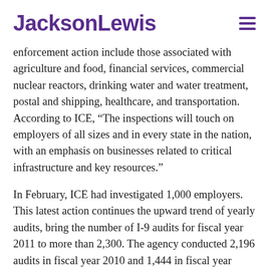JacksonLewis
enforcement action include those associated with agriculture and food, financial services, commercial nuclear reactors, drinking water and water treatment, postal and shipping, healthcare, and transportation. According to ICE, “The inspections will touch on employers of all sizes and in every state in the nation, with an emphasis on businesses related to critical infrastructure and key resources.”
In February, ICE had investigated 1,000 employers. This latest action continues the upward trend of yearly audits, bring the number of I-9 audits for fiscal year 2011 to more than 2,300. The agency conducted 2,196 audits in fiscal year 2010 and 1,444 in fiscal year 2009. For more information, please